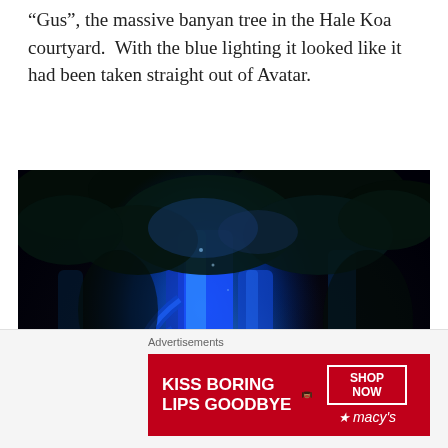“Gus”, the massive banyan tree in the Hale Koa courtyard.  With the blue lighting it looked like it had been taken straight out of Avatar.
[Figure (photo): Night photo of a massive banyan tree illuminated with vivid blue lighting, creating an otherworldly atmosphere reminiscent of the movie Avatar. The tree's large trunk and hanging aerial roots are lit in blue against a dark background with lush foliage.]
Advertisements
[Figure (photo): Macy's advertisement banner with red background. Left side reads 'KISS BORING LIPS GOODBYE' in white bold text. Center shows a close-up photo of a woman's face with red lips. Right side has a 'SHOP NOW' button and the Macy's star logo.]